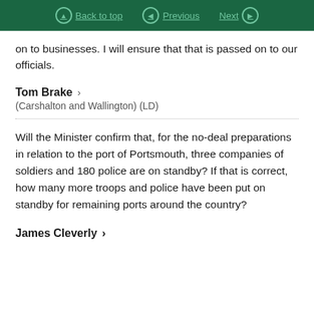Back to top | Previous | Next
on to businesses. I will ensure that that is passed on to our officials.
Tom Brake
(Carshalton and Wallington) (LD)
Will the Minister confirm that, for the no-deal preparations in relation to the port of Portsmouth, three companies of soldiers and 180 police are on standby? If that is correct, how many more troops and police have been put on standby for remaining ports around the country?
James Cleverly